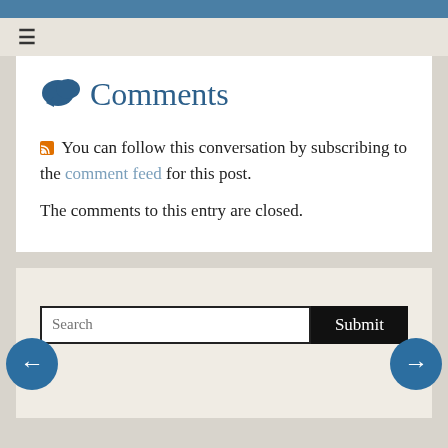Comments
You can follow this conversation by subscribing to the comment feed for this post.
The comments to this entry are closed.
Search
Submit